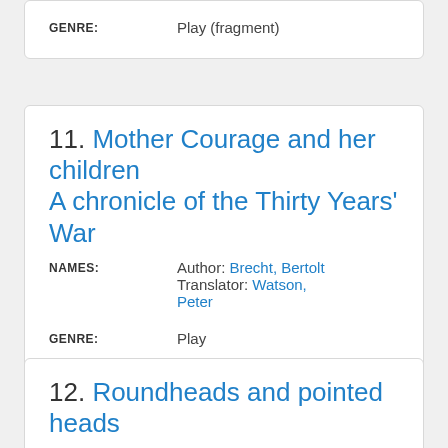GENRE: Play (fragment)
11. Mother Courage and her children A chronicle of the Thirty Years' War
NAMES: Author: Brecht, Bertolt Translator: Watson, Peter
GENRE: Play
12. Roundheads and pointed heads
NAMES: Author: Brecht, Bertolt